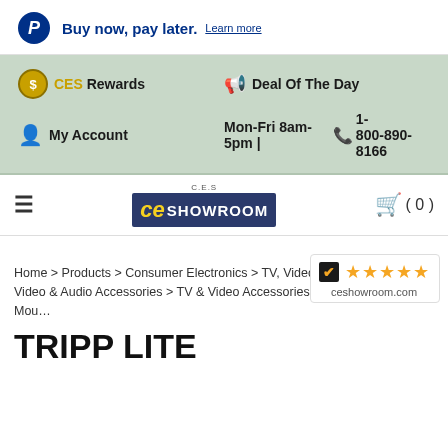Buy now, pay later. Learn more
CES Rewards
Deal Of The Day
My Account
Mon-Fri 8am-5pm | 1-800-890-8166
[Figure (logo): CE Showroom logo with house/roof graphic and yellow 'ce' text on dark blue background with SHOWROOM text]
( 0 )
Home > Products > Consumer Electronics > TV, Video & Home Audio > TV, Video & Audio Accessories > TV & Video Accessories > TV Stands & Mou...
[Figure (other): Shopper Approved rating badge with checkmark icon and 5 gold stars, ceshowroom.com]
TRIPP LITE